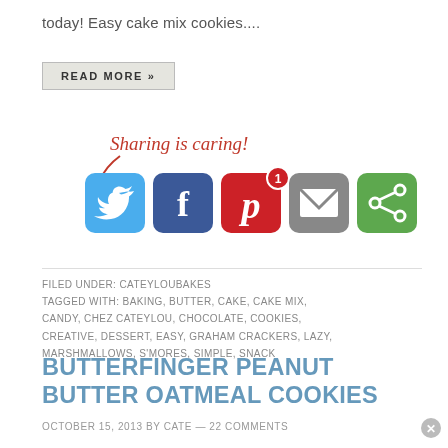today! Easy cake mix cookies....
READ MORE »
[Figure (infographic): Sharing is caring! social sharing icons: Twitter (blue), Facebook (dark blue), Pinterest (red, badge 1), Email (gray), Share/other (green). Red cursive text and arrow pointing to icons.]
FILED UNDER: CATEYLOUBAKES
TAGGED WITH: BAKING, BUTTER, CAKE, CAKE MIX, CANDY, CHEZ CATEYLOU, CHOCOLATE, COOKIES, CREATIVE, DESSERT, EASY, GRAHAM CRACKERS, LAZY, MARSHMALLOWS, S'MORES, SIMPLE, SNACK
BUTTERFINGER PEANUT BUTTER OATMEAL COOKIES
OCTOBER 15, 2013 BY CATE — 22 COMMENTS